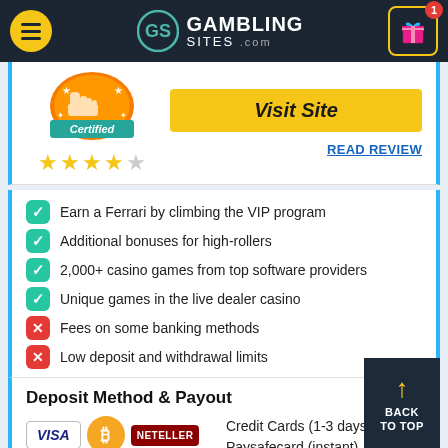GAMBLING SITES .com
[Figure (logo): Certified badge with thumbs up icon and star rating (4 out of 5 stars)]
Visit Site
READ REVIEW
Earn a Ferrari by climbing the VIP program
Additional bonuses for high-rollers
2,000+ casino games from top software providers
Unique games in the live dealer casino
Fees on some banking methods
Low deposit and withdrawal limits
Deposit Method & Payout
[Figure (illustration): Payment method icons: VISA, Bitcoin (orange circle), Neteller (red). +13 More text below.]
Credit Cards (1-3 days)
Paysafecard (instant)